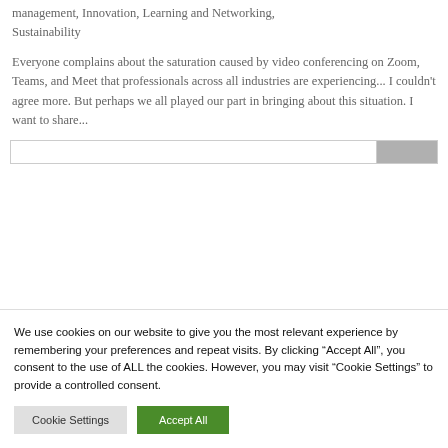management, Innovation, Learning and Networking, Sustainability
Everyone complains about the saturation caused by video conferencing on Zoom, Teams, and Meet that professionals across all industries are experiencing... I couldn't agree more. But perhaps we all played our part in bringing about this situation. I want to share...
We use cookies on our website to give you the most relevant experience by remembering your preferences and repeat visits. By clicking "Accept All", you consent to the use of ALL the cookies. However, you may visit "Cookie Settings" to provide a controlled consent.